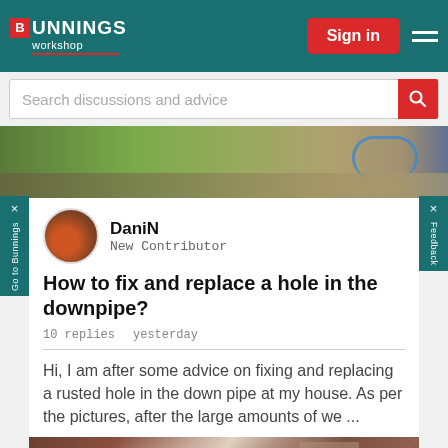BUNNINGS workshop
[Figure (screenshot): Bunnings Workshop website header with logo, Sign in button, hamburger menu, search bar, and garden/outdoor image]
[Figure (photo): Garden photo showing green plants, soil, and a blue hose]
DaniN
New Contributor
How to fix and replace a hole in the downpipe?
10 replies   yesterday
Hi, I am after some advice on fixing and replacing a rusted hole in the down pipe at my house. As per the pictures, after the large amounts of we ...
[Figure (photo): Close-up photo of rusted/damaged downpipe with moisture and rust visible]